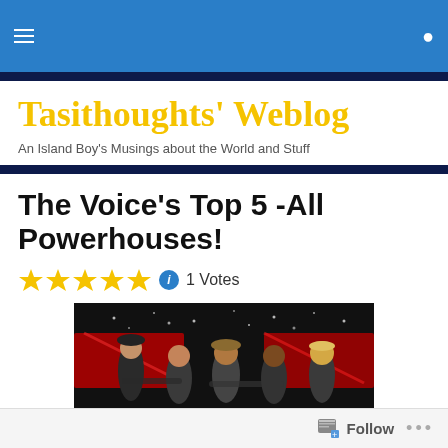Tasithoughts' Weblog — site navigation bar
Tasithoughts' Weblog
An Island Boy's Musings about the World and Stuff
The Voice's Top 5 -All Powerhouses!
1 Votes
[Figure (photo): Group photo of The Voice's Top 5 contestants on stage with red lighting and a dark background with stars. Five young men are posing together.]
Follow